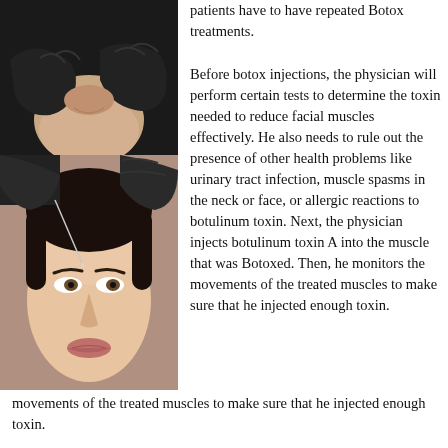[Figure (photo): Close-up of gloved hands (black gloves) near a person's lower face/chin area, dark background]
[Figure (photo): Woman receiving a botox injection in the forehead area, administered by gloved hands, woman looking upward]
patients have to have repeated Botox treatments.
Before botox injections, the physician will perform certain tests to determine the toxin needed to reduce facial muscles effectively. He also needs to rule out the presence of other health problems like urinary tract infection, muscle spasms in the neck or face, or allergic reactions to botulinum toxin. Next, the physician injects botulinum toxin A into the muscle that was Botoxed. Then, he monitors the movements of the treated muscles to make sure that he injected enough toxin.